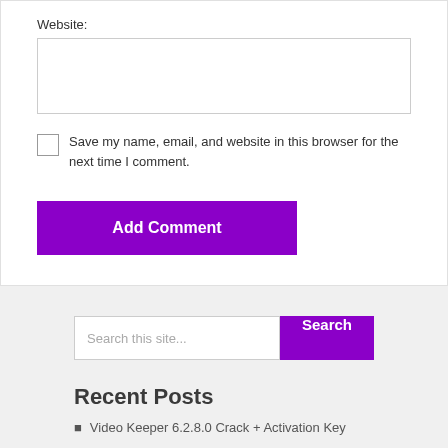Website:
Save my name, email, and website in this browser for the next time I comment.
Add Comment
Search this site...
Recent Posts
Video Keeper 6.2.8.0 Crack + Activation Key